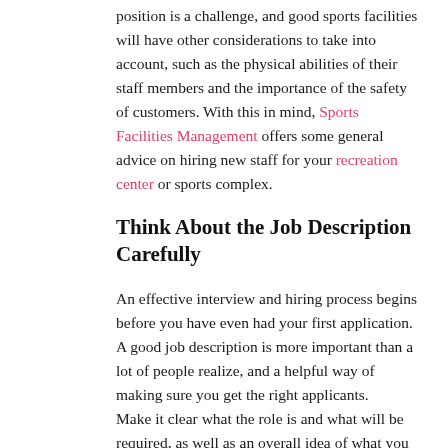position is a challenge, and good sports facilities will have other considerations to take into account, such as the physical abilities of their staff members and the importance of the safety of customers. With this in mind, Sports Facilities Management offers some general advice on hiring new staff for your recreation center or sports complex.
Think About the Job Description Carefully
An effective interview and hiring process begins before you have even had your first application. A good job description is more important than a lot of people realize, and a helpful way of making sure you get the right applicants.
Make it clear what the role is and what will be required, as well as an overall idea of what you expect from a member of your team in terms of